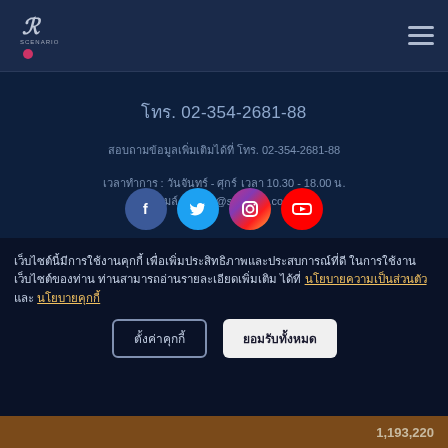Scenario logo and hamburger menu
โทร. 02-354-2681-88
สอบถามข้อมูลเพิ่มเติมได้ที่ โทร. 02-354-2681-88
เวลาทำการ : วันจันทร์ - ศุกร์ เวลา 10.30 - 18.00 น.
อีเมล์ :  sales@scenario.co.th
[Figure (infographic): Row of four social media icons: Facebook (blue), Twitter (light blue), Instagram (gradient purple-pink-red), YouTube (red)]
เว็บไซต์นี้มีการใช้งานคุกกี้ เพื่อเพิ่มประสิทธิภาพและประสบการณ์ที่ดีในการใช้งานเว็บไซต์ของท่าน ท่านสามารถอ่านรายละเอียดเพิ่มเติมได้ที่ นโยบายความเป็นส่วนตัว และ นโยบายคุกกี้
ตั้งค่าคุกกี้  ยอมรับทั้งหมด
1,193,220